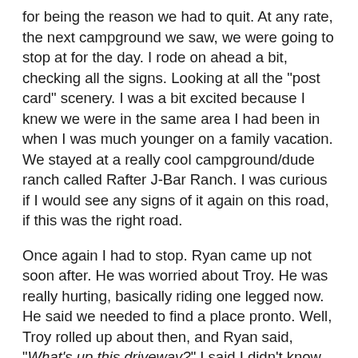for being the reason we had to quit. At any rate, the next campground we saw, we were going to stop at for the day. I rode on ahead a bit, checking all the signs. Looking at all the "post card" scenery. I was a bit excited because I knew we were in the same area I had been in when I was much younger on a family vacation. We stayed at a really cool campground/dude ranch called Rafter J-Bar Ranch. I was curious if I would see any signs of it again on this road, if this was the right road.
Once again I had to stop. Ryan came up not soon after. He was worried about Troy. He was really hurting, basically riding one legged now. He said we needed to find a place pronto. Well, Troy rolled up about then, and Ryan said, "What's up this driveway?" I said I didn't know, but not a second after the words came out of my mouth, Ryan found a sign that said "Rafter J-Bar Ranch" and an arrow pointing up the road. It was still here! The very same joint I had stayed at years ago when I was a child.
It was a nice place too. We found a camping spot right near the showers that had a laundry attached. It was time to set